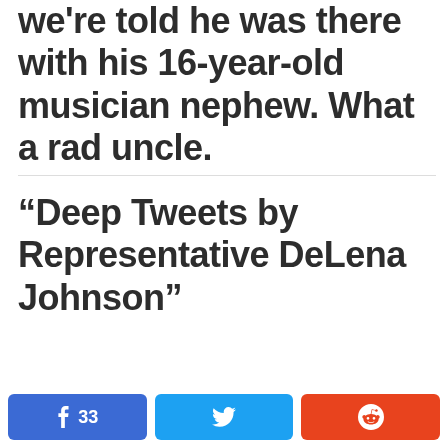we're told he was there with his 16-year-old musician nephew. What a rad uncle.
“Deep Tweets by Representative DeLena Johnson”